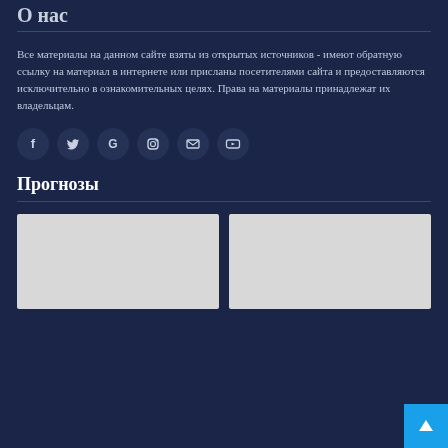О нас
Все материалы на данном сайте взяты из открытых источников - имеют обратную ссылку на материал в интернете или присланы посетителями сайта и предоставляются исключительно в ознакомительных целях. Права на материалы принадлежат их владельцам.
[Figure (infographic): Row of 6 social media icon circles: Facebook, Twitter, Google, Instagram, Email/Envelope, YouTube]
Прогнозы
[Figure (photo): Left image placeholder (grey rectangle)]
[Figure (photo): Right image placeholder (grey rectangle)]